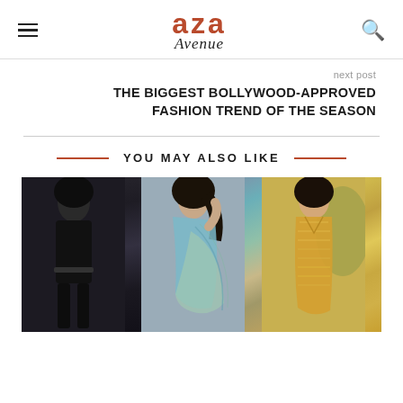Aza Avenue
next post
THE BIGGEST BOLLYWOOD-APPROVED FASHION TREND OF THE SEASON
YOU MAY ALSO LIKE
[Figure (photo): Three side-by-side photos of Bollywood actress in different outfits: black dress, colorful saree, and gold sequin saree]